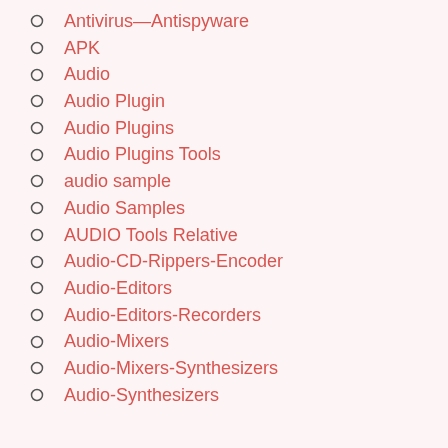Antivirus—Antispyware
APK
Audio
Audio Plugin
Audio Plugins
Audio Plugins Tools
audio sample
Audio Samples
AUDIO Tools Relative
Audio-CD-Rippers-Encoder
Audio-Editors
Audio-Editors-Recorders
Audio-Mixers
Audio-Mixers-Synthesizers
Audio-Synthesizers